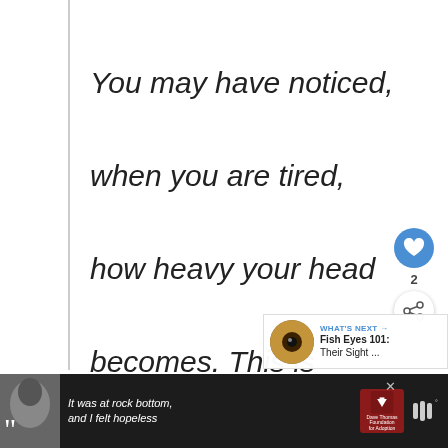You may have noticed, when you are tired, how heavy your head becomes. This is because gravity is pulling your head d...
[Figure (infographic): Like button (heart icon, blue circle) with count of 2, and share button below it]
[Figure (infographic): WHAT'S NEXT panel showing eye close-up photo and text: Fish Eyes 101: Their Sight ...]
[Figure (infographic): Advertisement bar at bottom: black background, woman photo with large quotation marks, text 'It was at rock bottom, and I felt hopeless', Dave Thomas Foundation for Adoption logo]